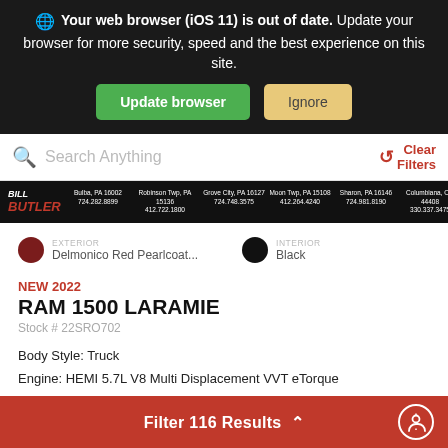Your web browser (iOS 11) is out of date. Update your browser for more security, speed and the best experience on this site.
Update browser | Ignore
Search Anything
Clear Filters
[Figure (logo): Bill Butler dealership logo and location strip with addresses and phone numbers]
EXTERIOR
Delmonico Red Pearlcoat...
INTERIOR
Black
NEW 2022
RAM 1500 LARAMIE
Stock # 22SRO702
Body Style: Truck
Engine: HEMI 5.7L V8 Multi Displacement VVT eTorque
Transmission: 8-Speed Automatic
Drivetrain: 4WD
Filter 116 Results